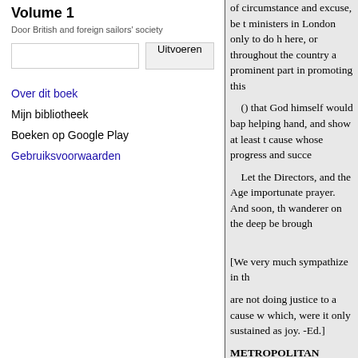Volume 1
Door British and foreign sailors' society
Over dit boek
Mijn bibliotheek
Boeken op Google Play
Gebruiksvoorwaarden
of circumstance and excuse, be t ministers in London only to do h here, or throughout the country a prominent part in promoting this () that God himself would bap helping hand, and show at least t cause whose progress and succe Let the Directors, and the Age importunate prayer. And soon, th wanderer on the deep be brough [We very much sympathize in th are not doing justice to a cause w which, were it only sustained as joy. -Ed.] METROPOLITAN SEAME 50,000 seamen annually, is a children are, in masses, growing the present appeal. The Directors of the British and and separate resolution, pledge